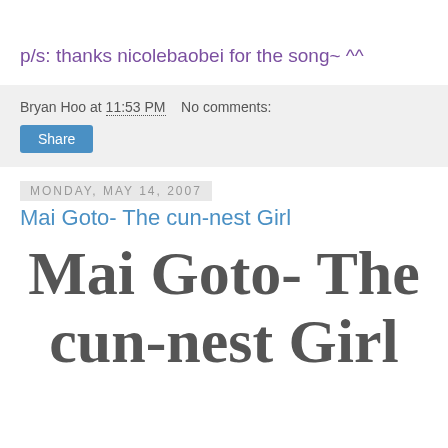p/s: thanks nicolebaobei for the song~ ^^
Bryan Hoo at 11:53 PM   No comments:
Share
Monday, May 14, 2007
Mai Goto- The cun-nest Girl
Mai Goto- The cun-nest Girl